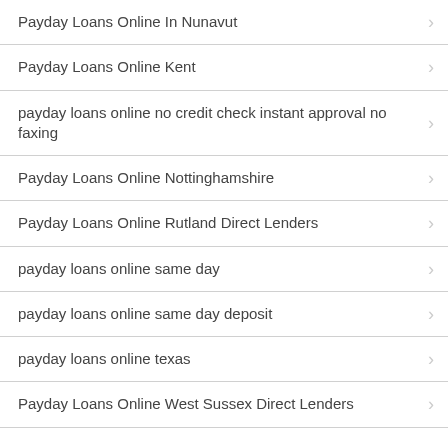Payday Loans Online In Nunavut
Payday Loans Online Kent
payday loans online no credit check instant approval no faxing
Payday Loans Online Nottinghamshire
Payday Loans Online Rutland Direct Lenders
payday loans online same day
payday loans online same day deposit
payday loans online texas
Payday Loans Online West Sussex Direct Lenders